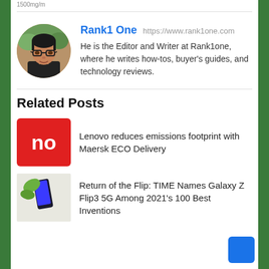1500mg/m
[Figure (photo): Circular avatar photo of a man wearing glasses, outdoors background]
Rank1 One  https://www.rank1one.com
He is the Editor and Writer at Rank1one, where he writes how-tos, buyer's guides, and technology reviews.
Related Posts
[Figure (logo): Red square logo with white text 'no']
Lenovo reduces emissions footprint with Maersk ECO Delivery
[Figure (photo): Phone product image - Samsung Galaxy Z Flip3 5G folded open]
Return of the Flip: TIME Names Galaxy Z Flip3 5G Among 2021's 100 Best Inventions